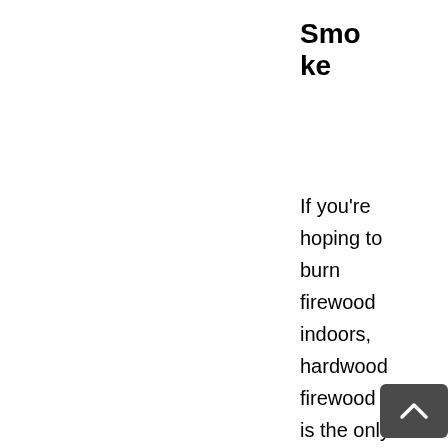Smoke
If you're hoping to burn firewood indoors, hardwood firewood is the only reasonable option. This is because